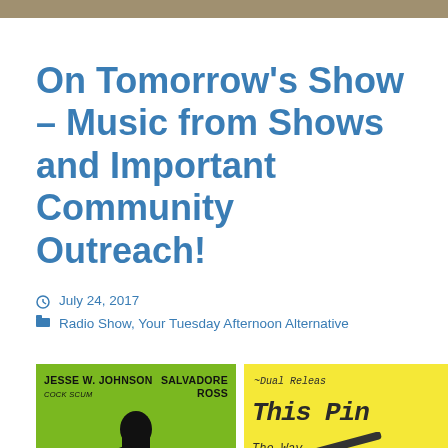On Tomorrow's Show – Music from Shows and Important Community Outreach!
July 24, 2017   Radio Show, Your Tuesday Afternoon Alternative
[Figure (photo): Album cover for Jesse W. Johnson with Coco Scum and Salvadore Ross on green background with black silhouette figure]
[Figure (photo): Yellow album cover with text '~Dual Releas' and 'This Pin' and 'The Way' in handwritten style]